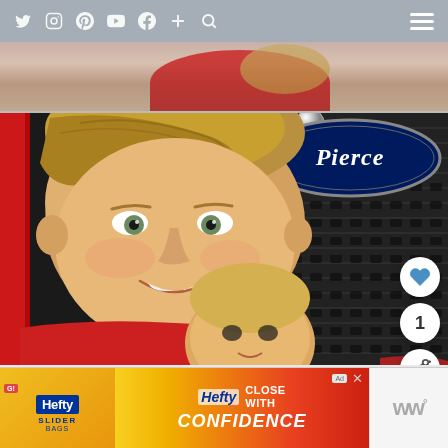Social media blog header with icons: Twitter, Instagram, Pinterest, YouTube, Facebook, Plus, Search, Menu
[Figure (photo): Partial view of people at top of page, blurred/cropped]
[Figure (photo): Two children posing in front of a Pierce fire truck grille. An older boy in a red shirt smiles at camera with a toddler in front of him. The Pierce manufacturer emblem is visible in the upper right.]
[Figure (screenshot): Hefty Slider bags advertisement banner at bottom: yellow and red ad with Hefty Close With Confidence tagline, and WW logo on right side]